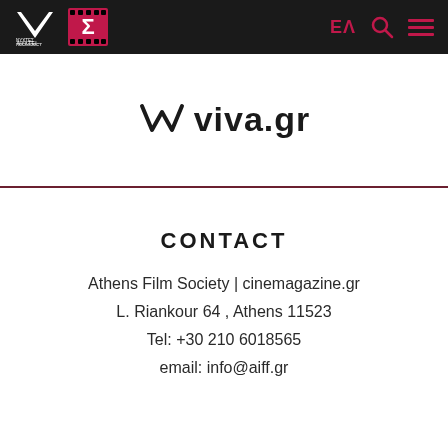NYXTES PREMIERES | [film reel logo] | EA | [search icon] | [menu icon]
[Figure (logo): viva.gr logo with stylized W/checkmark icon]
CONTACT
Athens Film Society | cinemagazine.gr
L. Riankour 64 , Athens 11523
Tel: +30 210 6018565
email: info@aiff.gr